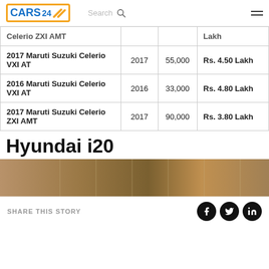CARS24 | Search
| Model | Year | KM | Price |
| --- | --- | --- | --- |
| Celerio ZXI AMT |  |  | Lakh |
| 2017 Maruti Suzuki Celerio VXI AT | 2017 | 55,000 | Rs. 4.50 Lakh |
| 2016 Maruti Suzuki Celerio VXI AT | 2016 | 33,000 | Rs. 4.80 Lakh |
| 2017 Maruti Suzuki Celerio ZXI AMT | 2017 | 90,000 | Rs. 3.80 Lakh |
Hyundai i20
[Figure (photo): Partial image of a Hyundai i20 car interior or exterior in warm golden tones]
SHARE THIS STORY